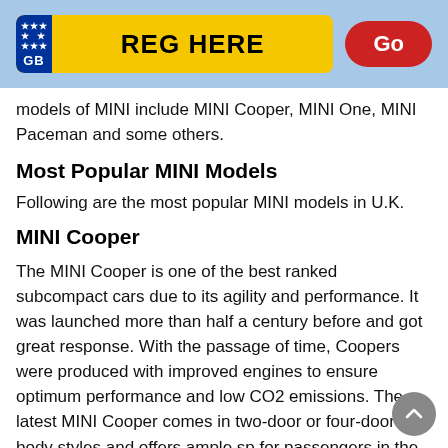[Figure (other): Yellow UK number plate style header bar with blue GB badge (EU stars above 'GB'), text 'REG HERE' in black bold, and a red rounded button labeled 'Go' in white, all on a light blue background.]
models of MINI include MINI Cooper, MINI One, MINI Paceman and some others.
Most Popular MINI Models
Following are the most popular MINI models in U.K.
MINI Cooper
The MINI Cooper is one of the best ranked subcompact cars due to its agility and performance. It was launched more than half a century before and got great response. With the passage of time, Coopers were produced with improved engines to ensure optimum performance and low CO2 emissions. The latest MINI Cooper comes in two-door or four-door body styles and offers ample sp for passengers in the rear seats. The turbocharged MINI Cooper engines make the car move at good